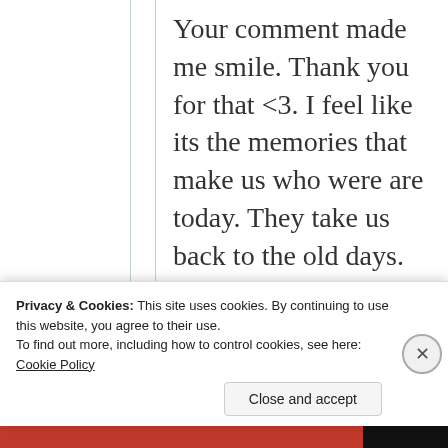Your comment made me smile. Thank you for that <3. I feel like its the memories that make us who were are today. They take us back to the old days. And yes I've spent more than six years in Pakistan, and I do speak Urdu as well as Punjabi ❤
Privacy & Cookies: This site uses cookies. By continuing to use this website, you agree to their use. To find out more, including how to control cookies, see here: Cookie Policy
Close and accept